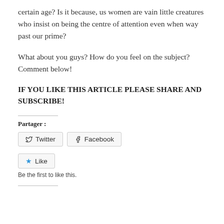certain age? Is it because, us women are vain little creatures who insist on being the centre of attention even when way past our prime?
What about you guys? How do you feel on the subject? Comment below!
IF YOU LIKE THIS ARTICLE PLEASE SHARE AND SUBSCRIBE!
Partager :
[Figure (other): Share buttons: Twitter and Facebook buttons side by side, followed by a Like button with a star icon and text 'Be the first to like this.']